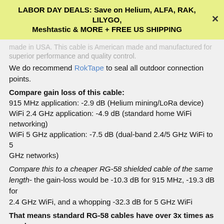LABOR DAY DEALS: Save on Helium, ALFA, RAK, LILYGO, Meshtastic & MORE + FREE US SHIPPING
made in USA. This cable is American made and manufactured for superior performance and quality control.
We do recommend RokTape to seal all outdoor connection points.
Compare gain loss of this cable:
915 MHz application: -2.9 dB (Helium mining/LoRa device)
WiFi 2.4 GHz application: -4.9 dB (standard home WiFi networking)
WiFi 5 GHz application: -7.5 dB (dual-band 2.4/5 GHz WiFi to 5 GHz networks)
Compare this to a cheaper RG-58 shielded cable of the same length- the gain-loss would be -10.3 dB for 915 MHz, -19.3 dB for 2.4 GHz WiFi, and a whopping -32.3 dB for 5 GHz WiFi
That means standard RG-58 cables have over 3x times as much gain loss as this cable!